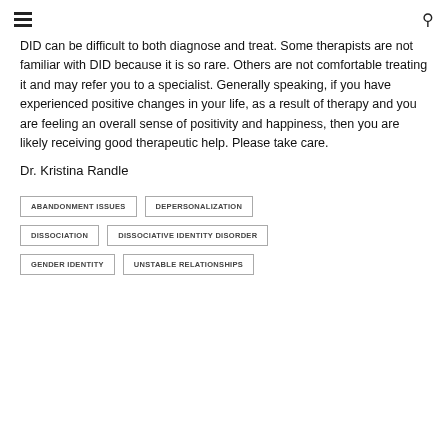≡  🔍
DID can be difficult to both diagnose and treat. Some therapists are not familiar with DID because it is so rare. Others are not comfortable treating it and may refer you to a specialist. Generally speaking, if you have experienced positive changes in your life, as a result of therapy and you are feeling an overall sense of positivity and happiness, then you are likely receiving good therapeutic help. Please take care.
Dr. Kristina Randle
ABANDONMENT ISSUES
DEPERSONALIZATION
DISSOCIATION
DISSOCIATIVE IDENTITY DISORDER
GENDER IDENTITY
UNSTABLE RELATIONSHIPS